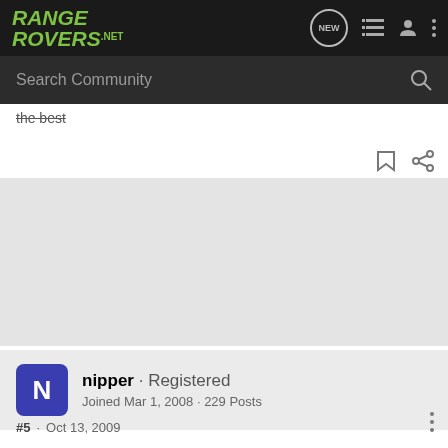RANGE ROVERS .NET
Search Community
the best
nipper · Registered
Joined Mar 1, 2008 · 229 Posts
#5 · Oct 13, 2009
[quote= Mine is usually sticking straight up / half way to hot.
;roll;